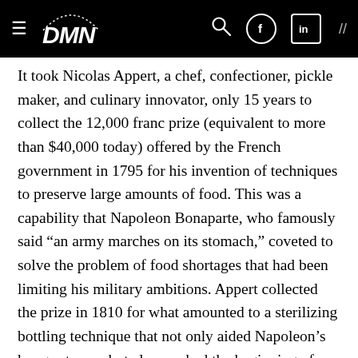DMN [logo] [search] [facebook] [linkedin] //
It took Nicolas Appert, a chef, confectioner, pickle maker, and culinary innovator, only 15 years to collect the 12,000 franc prize (equivalent to more than $40,000 today) offered by the French government in 1795 for his invention of techniques to preserve large amounts of food. This was a capability that Napoleon Bonaparte, who famously said “an army marches on its stomach,” coveted to solve the problem of food shortages that had been limiting his military ambitions. Appert collected the prize in 1810 for what amounted to a sterilizing bottling technique that not only aided Napoleon’s hungry troops but also marked the beginning of modern food packaging.
A famous technology prize hastened the day of the first New York-to-Paris flight. After six aviators died and three others were injured in attempts to claim the $25,000 prize (equivalent to some $300,000 today) first offered in 1919 by New York City hotel owner